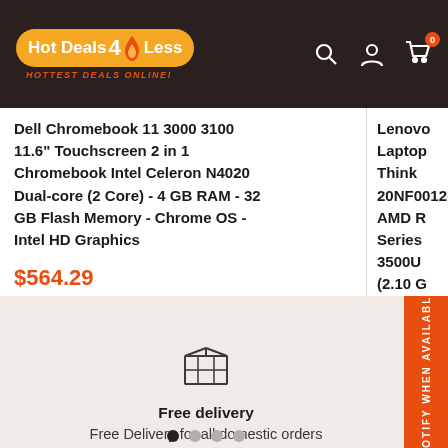Hot Deals 4 Less - HOTTEST DEALS ONLINE!
Dell Chromebook 11 3000 3100 11.6" Touchscreen 2 in 1 Chromebook Intel Celeron N4020 Dual-core (2 Core) - 4 GB RAM - 32 GB Flash Memory - Chrome OS - Intel HD Graphics
$564.29
Lenovo Laptop ThinkPad 20NF0012US AMD Ryzen Series 3500U (2.10 GHz) Memory 256 GB SSD Radeon Vega 8 15.6" Windows
$812.24
[Figure (illustration): Box/package icon representing free delivery]
Free delivery
Free Delivery for all domestic orders
NOTIFY WHEN AVAILABLE